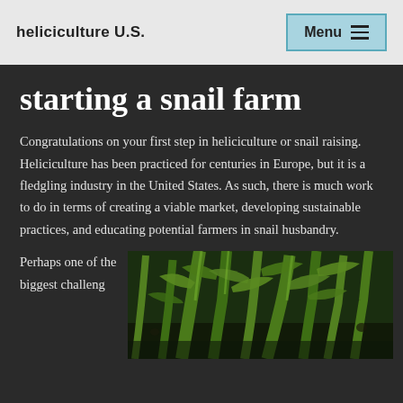heliciculture U.S.   Menu
starting a snail farm
Congratulations on your first step in heliciculture or snail raising. Heliciculture has been practiced for centuries in Europe, but it is a fledgling industry in the United States. As such, there is much work to do in terms of creating a viable market, developing sustainable practices, and educating potential farmers in snail husbandry.
Perhaps one of the biggest challeng
[Figure (photo): Close-up photograph of green leafy plant stems and leaves, possibly a vegetable crop grown for snail farming.]